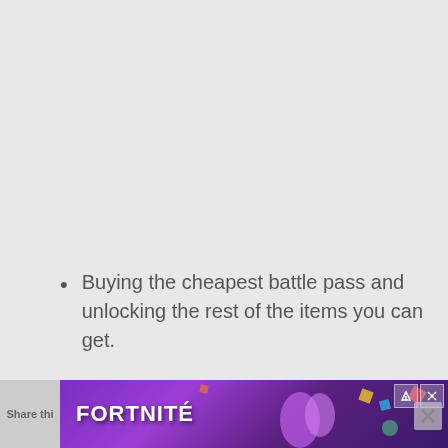Buying the cheapest battle pass and unlocking the rest of the items you can get.
Having an awesome friend or friends who can gift you skins...
[Figure (screenshot): Fortnite advertisement banner at the bottom of the page with colorful game characters and Fortnite logo text]